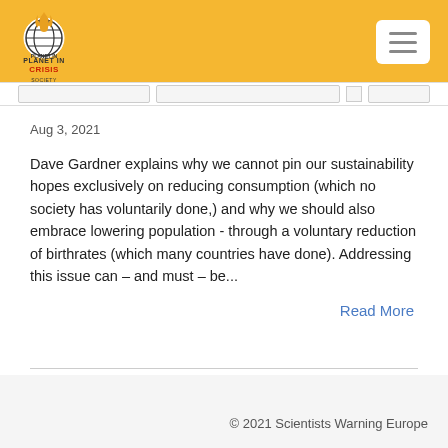[Figure (logo): Planet in Crisis logo with flame icon and text]
Aug 3, 2021
Dave Gardner explains why we cannot pin our sustainability hopes exclusively on reducing consumption (which no society has voluntarily done,) and why we should also embrace lowering population - through a voluntary reduction of birthrates (which many countries have done). Addressing this issue can – and must – be...
Read More
© 2021 Scientists Warning Europe